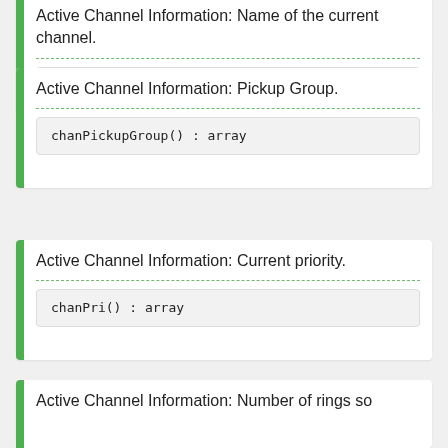Active Channel Information: Name of the current channel.
chanName() : array
Active Channel Information: Pickup Group.
chanPickupGroup() : array
Active Channel Information: Current priority.
chanPri() : array
Active Channel Information: Number of rings so